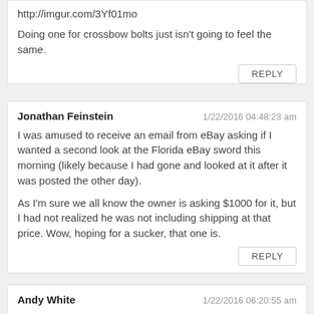http://imgur.com/3Yf01mo
Doing one for crossbow bolts just isn't going to feel the same.
REPLY
Jonathan Feinstein
1/22/2016 04:48:23 am
I was amused to receive an email from eBay asking if I wanted a second look at the Florida eBay sword this morning (likely because I had gone and looked at it after it was posted the other day).
As I'm sure we all know the owner is asking $1000 for it, but I had not realized he was not including shipping at that price. Wow, hoping for a sucker, that one is.
REPLY
Andy White
1/22/2016 06:20:55 am
Nice. Did you see the new photos of the Sonja sword? Also I think there will be at least one more new one on the way.